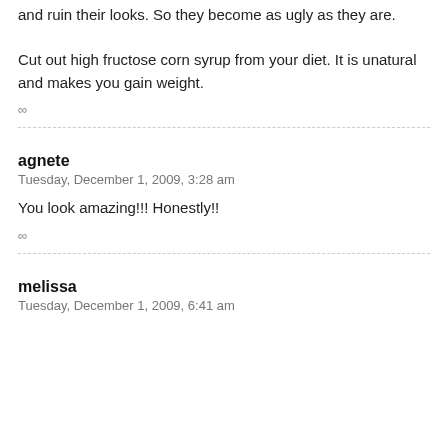and ruin their looks. So they become as ugly as they are... Cut out high fructose corn syrup from your diet. It is unatural and makes you gain weight.
∞
agnete
Tuesday, December 1, 2009, 3:28 am
You look amazing!!! Honestly!!
∞
melissa
Tuesday, December 1, 2009, 6:41 am